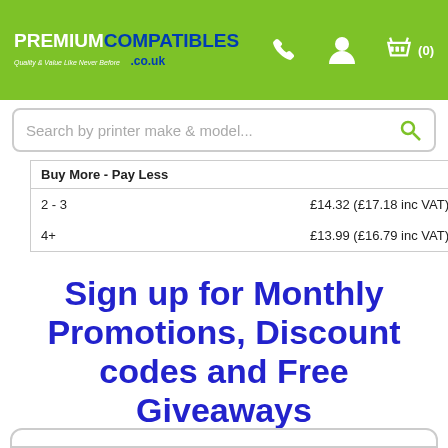[Figure (logo): PremiumCompatibles.co.uk logo with green background, phone icon, user icon, and basket icon with (0)]
[Figure (screenshot): Search bar with text 'Search by printer make & model...' and green search icon]
| Buy More - Pay Less |  |
| --- | --- |
| 2 - 3 | £14.32 (£17.18 inc VAT) |
| 4+ | £13.99 (£16.79 inc VAT) |
Sign up for Monthly Promotions, Discount codes and Free Giveaways